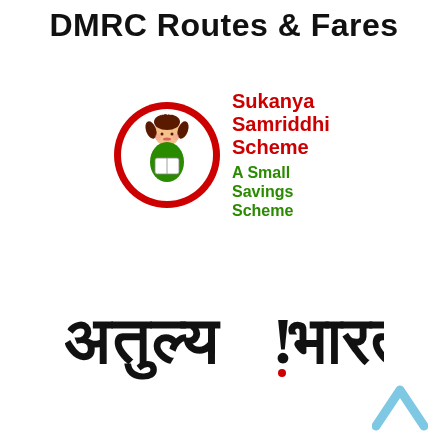DMRC Routes & Fares
[Figure (logo): Sukanya Samriddhi Scheme logo: circular red emblem with cartoon girl reading a book, accompanied by red bold text 'Sukanya Samriddhi Scheme' and green text 'A Small Savings Scheme']
[Figure (logo): Incredible India logo in Hindi script: अतुल्य !भारत with a red dot beneath the exclamation mark]
[Figure (illustration): Light blue upward-pointing caret/arrow icon in the bottom right corner]